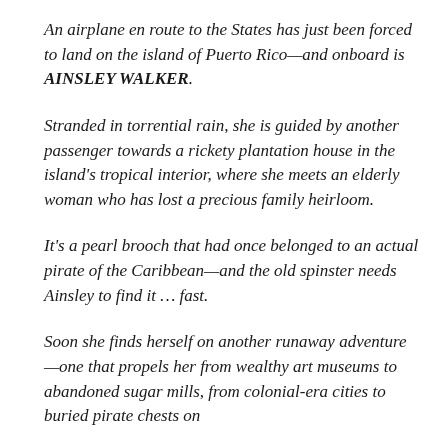An airplane en route to the States has just been forced to land on the island of Puerto Rico—and onboard is AINSLEY WALKER.
Stranded in torrential rain, she is guided by another passenger towards a rickety plantation house in the island's tropical interior, where she meets an elderly woman who has lost a precious family heirloom.
It's a pearl brooch that had once belonged to an actual pirate of the Caribbean—and the old spinster needs Ainsley to find it … fast.
Soon she finds herself on another runaway adventure—one that propels her from wealthy art museums to abandoned sugar mills, from colonial-era cities to buried pirate chests on